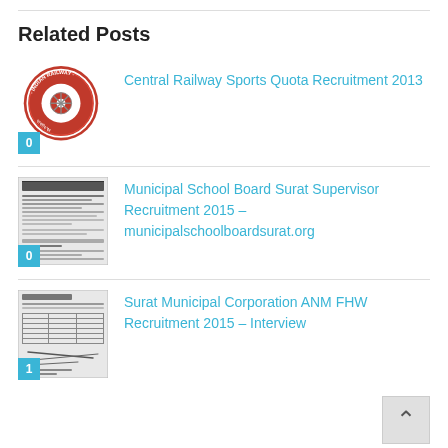Related Posts
[Figure (logo): Indian Railways circular logo, red background with emblem]
Central Railway Sports Quota Recruitment 2013
[Figure (screenshot): Document thumbnail - Municipal School Board Surat recruitment notice]
Municipal School Board Surat Supervisor Recruitment 2015 – municipalschoolboardsurat.org
[Figure (screenshot): Document thumbnail - Surat Municipal Corporation ANM FHW recruitment notice]
Surat Municipal Corporation ANM FHW Recruitment 2015 – Interview